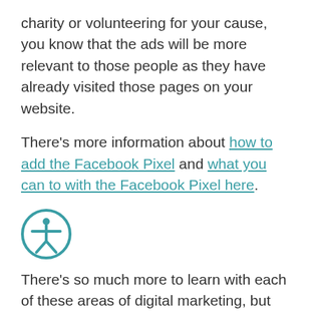charity or volunteering for your cause, you know that the ads will be more relevant to those people as they have already visited those pages on your website.
There's more information about how to add the Facebook Pixel and what you can to with the Facebook Pixel here.
[Figure (illustration): Accessibility icon: a teal circle with a white stick figure person with arms outstretched]
There's so much more to learn with each of these areas of digital marketing, but hopefully these tips will give you plenty to go on and start to gain more confidence in how to use the tools.
Overall, we would recommend to start small with whatever digital marketing activity you